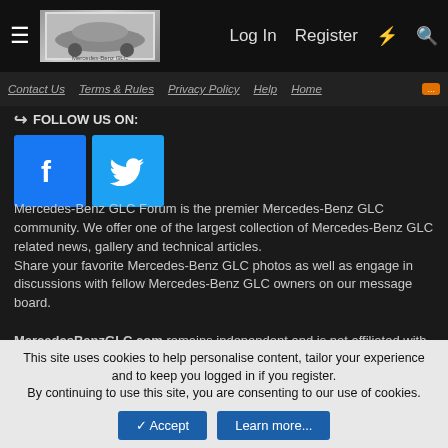Log In  Register
Contact Us  Terms & Rules  Privacy Policy  Help  Home
FOLLOW US ON:
[Figure (logo): Facebook logo icon (blue square with white f)]
[Figure (logo): Twitter logo icon (light blue square with white bird)]
Mercedes-Benz GLC Forum is the premier Mercedes-Benz GLC community. We offer one of the largest collection of Mercedes-Benz GLC related news, gallery and technical articles. Share your favorite Mercedes-Benz GLC photos as well as engage in discussions with fellow Mercedes-Benz GLC owners on our message board.
MercedesBenzGLC.com remains independent and is not affiliated with, sponsored by, or endorsed by Mercedes-Benz. All use of Mercedes-Benz's trademarks, brands, and logos, including all Mercedes-Benz marks displayed here, is purely referential, and such marks are the property of Mercedes-Benz.
This site uses cookies to help personalise content, tailor your experience and to keep you logged in if you register. By continuing to use this site, you are consenting to our use of cookies.
Accept  Learn more...